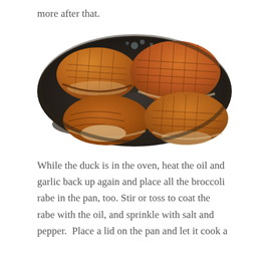more after that.
[Figure (photo): Four pieces of duck with scored skin, golden-brown and seared, cooking in a dark skillet with rendered fat.]
While the duck is in the oven, heat the oil and garlic back up again and place all the broccoli rabe in the pan, too. Stir or toss to coat the rabe with the oil, and sprinkle with salt and pepper.  Place a lid on the pan and let it cook a